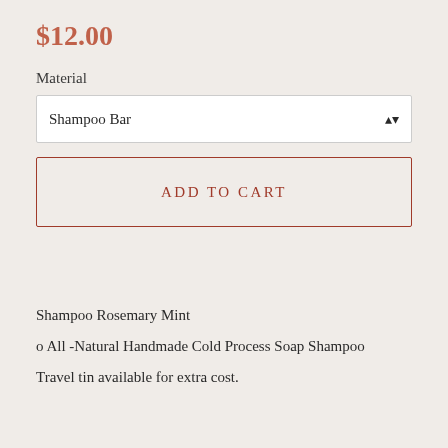$12.00
Material
Shampoo Bar
ADD TO CART
Shampoo Rosemary Mint
o All -Natural Handmade Cold Process Soap Shampoo
Travel tin available for extra cost.